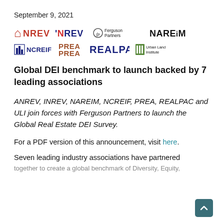September 9, 2021
[Figure (logo): Logos of 7 organizations: ANREV, INREV, Ferguson Partners, NAREiM, NCREIF, PREA, REALPAC, Urban Land Institute]
Global DEI benchmark to launch backed by 7 leading associations
ANREV, INREV, NAREIM, NCREIF, PREA, REALPAC and ULI join forces with Ferguson Partners to launch the Global Real Estate DEI Survey.
For a PDF version of this announcement, visit here.
Seven leading industry associations have partnered together to create a global benchmark of Diversity, Equity,